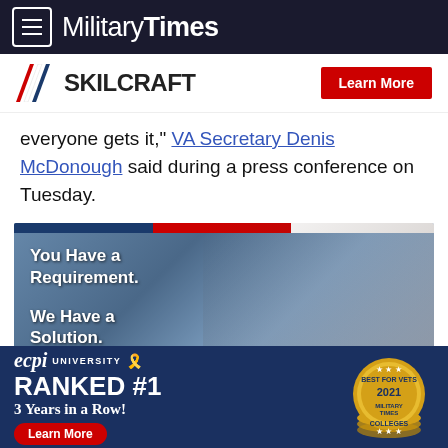MilitaryTimes
[Figure (logo): SKILCRAFT logo with red/blue diagonal stripes and Learn More button]
everyone gets it," VA Secretary Denis McDonough said during a press conference on Tuesday.
[Figure (photo): SKILCRAFT ad showing young man at computer with text 'You Have a Requirement. We Have a Solution.']
[Figure (infographic): ECPI University ad: Ranked #1 3 Years in a Row! Best for Vets 2021 Military Times Colleges]